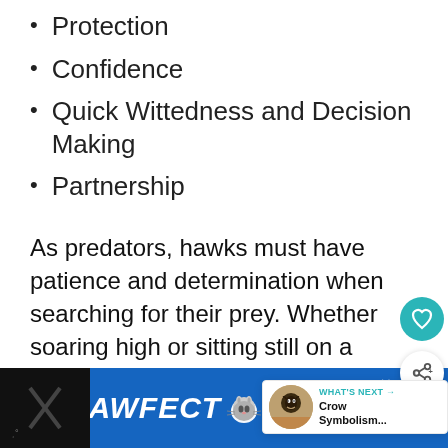Protection
Confidence
Quick Wittedness and Decision Making
Partnership
As predators, hawks must have patience and determination when searching for their prey. Whether soaring high or sitting still on a perch, they must display focus and concentration, waiting for the perfect moment to strike.
[Figure (screenshot): Website UI overlay elements: teal heart/save button, share button, and a 'What's Next' card showing Crow Symbolism with a bird thumbnail image]
[Figure (screenshot): Bottom advertisement banner with dark background reading PAWFECT MATCH with a cat face icon in the center]